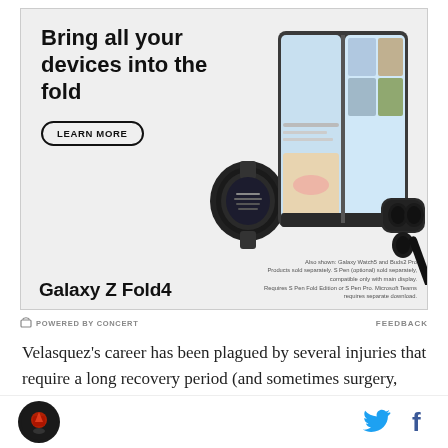[Figure (advertisement): Samsung Galaxy Z Fold4 advertisement. Headline: 'Bring all your devices into the fold'. Shows a LEARN MORE button, Samsung Galaxy Watch5, Galaxy Z Fold4 open showing a video call with three people, Galaxy Buds2 Pro, and an S Pen. Brand name 'Galaxy Z Fold4' bottom left. Disclaimer text: 'Also shown: Galaxy Watch5 and Buds2 Pro. Products sold separately. S Pen (optional) sold separately, compatible only with main display. Requires S Pen Fold Edition or S Pen Pro. Microsoft Teams requires separate download.']
POWERED BY CONCERT
FEEDBACK
Velasquez's career has been plagued by several injuries that require a long recovery period (and sometimes surgery, too). He has reigned over the division at times, first winning the title with a stunning...